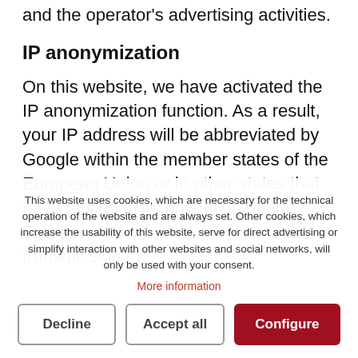and the operator's advertising activities.
IP anonymization
On this website, we have activated the IP anonymization function. As a result, your IP address will be abbreviated by Google within the member states of the European Union or in other states that have ratified the Convention on the European Economic Area prior to its transmission to
This website uses cookies, which are necessary for the technical operation of the website and are always set. Other cookies, which increase the usability of this website, serve for direct advertising or simplify interaction with other websites and social networks, will only be used with your consent.
More information
Decline | Accept all | Configure